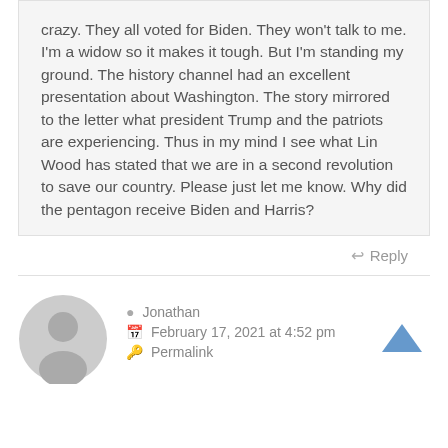crazy. They all voted for Biden. They won't talk to me. I'm a widow so it makes it tough. But I'm standing my ground. The history channel had an excellent presentation about Washington. The story mirrored to the letter what president Trump and the patriots are experiencing. Thus in my mind I see what Lin Wood has stated that we are in a second revolution to save our country. Please just let me know. Why did the pentagon receive Biden and Harris?
Reply
[Figure (illustration): Generic grey user avatar icon - circle with person silhouette]
Jonathan
February 17, 2021 at 4:52 pm
Permalink